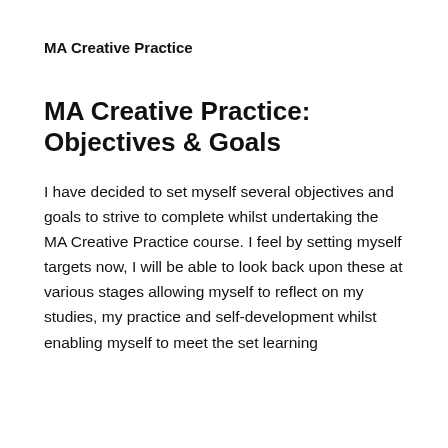MA Creative Practice
MA Creative Practice: Objectives & Goals
I have decided to set myself several objectives and goals to strive to complete whilst undertaking the MA Creative Practice course. I feel by setting myself targets now, I will be able to look back upon these at various stages allowing myself to reflect on my studies, my practice and self-development whilst enabling myself to meet the set learning